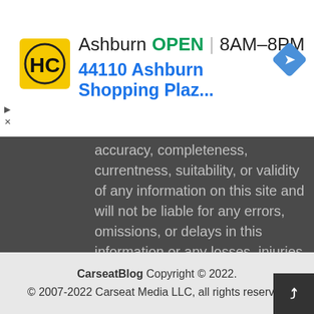[Figure (infographic): Advertisement banner for Haircut place HC logo in yellow square, showing Ashburn location OPEN 8AM-8PM, address 44110 Ashburn Shopping Plaz..., with a navigation arrow icon on the right]
accuracy, completeness, currentness, suitability, or validity of any information on this site and will not be liable for any errors, omissions, or delays in this information or any losses, injuries, or damages arising from its display or use. All information is provided on an as-is basis for readers in the USA & Canada.
About | Terms | Privacy
CarseatBlog Copyright © 2022.
© 2007-2022 Carseat Media LLC, all rights reserved